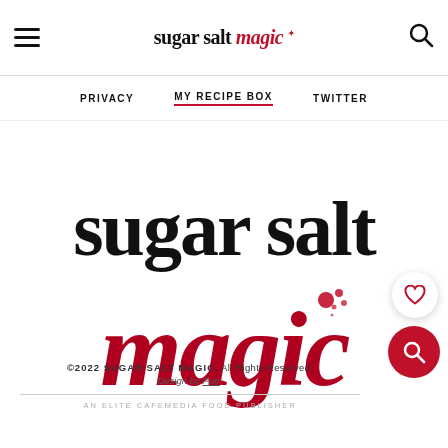sugar salt magic
PRIVACY  MY RECIPE BOX  TWITTER
[Figure (logo): Sugar Salt Magic logo — large black serif text 'sugar salt' with red cursive script 'magic' below, red ink splatter accent]
©2022 SUGAR SALT MAGIC. All Rights Reserved. Design by Purr. AN ELITE CAFEMEDIA FOOD PUBLISHER